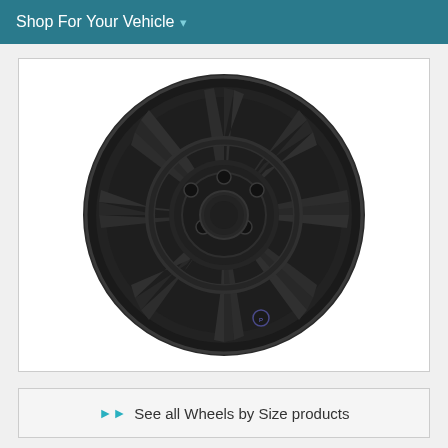Shop For Your Vehicle
[Figure (photo): A matte black multi-spoke alloy wheel/rim photographed on a white background, showing a complex spoke pattern with cross-braced spokes and a center hub with lug holes.]
See all Wheels by Size products